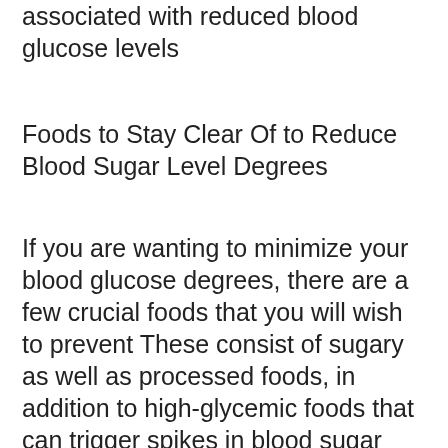associated with reduced blood glucose levels
Foods to Stay Clear Of to Reduce Blood Sugar Level Degrees
If you are wanting to minimize your blood glucose degrees, there are a few crucial foods that you will wish to prevent These consist of sugary as well as processed foods, in addition to high-glycemic foods that can trigger spikes in blood sugar level By staying clear of these foods, you can assist manage your blood sugar degrees and keep them within a healthy and balanced variety Additionally, be sure to get lots of exercise and remain hydrated to help balance your